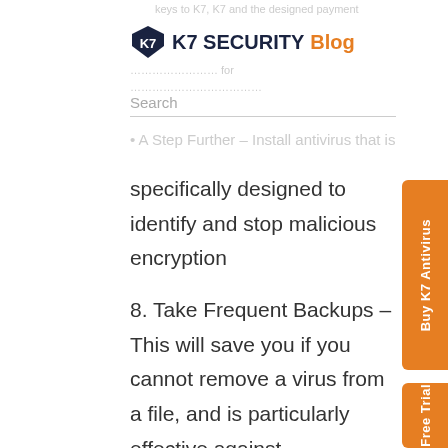K7 SECURITY Blog
Search
A Step Further – Install antivirus that is specifically designed to identify and stop malicious encryption
8. Take Frequent Backups – This will save you if you cannot remove a virus from a file, and is particularly effective against ransomware. Just restore an uninfected copy of the file from the backup to defeat the attack